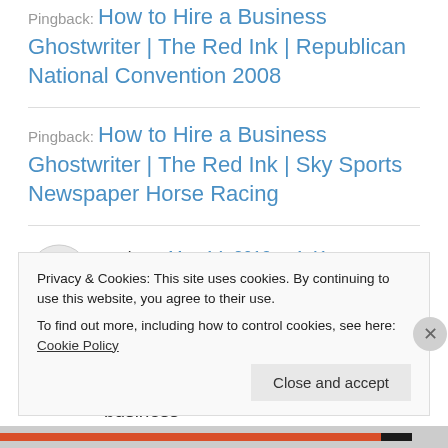Pingback: How to Hire a Business Ghostwriter | The Red Ink | Republican National Convention 2008
Pingback: How to Hire a Business Ghostwriter | The Red Ink | Sky Sports Newspaper Horse Racing
tapis on May 14, 2013 at 1:41 pm
I came across this post on http://grammarchicblog.com/2013/01/22/how-to-hire-a-business-
Privacy & Cookies: This site uses cookies. By continuing to use this website, you agree to their use. To find out more, including how to control cookies, see here: Cookie Policy